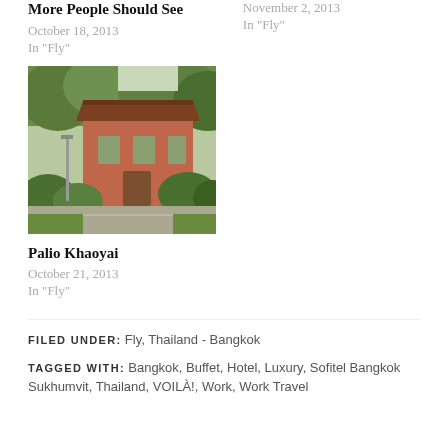More People Should See
October 18, 2013
In "Fly"
November 2, 2013
In "Fly"
[Figure (photo): A photo of a terracotta/orange building surrounded by green trees and bushes, with a road in the foreground. Palio Khaoyai.]
Palio Khaoyai
October 21, 2013
In "Fly"
FILED UNDER: Fly, Thailand - Bangkok
TAGGED WITH: Bangkok, Buffet, Hotel, Luxury, Sofitel Bangkok Sukhumvit, Thailand, VOILÀ!, Work, Work Travel